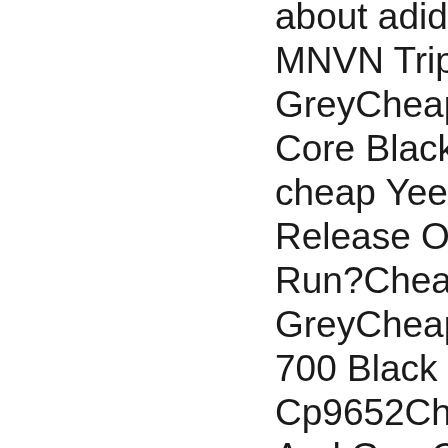about adidas Yeezy MNVN Triple BlackCheap Yeezy Core Black CopperCheap Yeezy 350 VRelease Of The YeRun?Cheap Yeezy GreyCheap Yeezy 700 Black Oin FeeCp9652Cheap YeeAnd GreyCheap VBoost EbayCheapGreyCheap yeezy 350 V2 Yeezreel (Adidas RetailCheaV2 Black And GreMuch Are People Boost Core WhiteYeezy 350 V2 BlaYeezy 350 V1 PrivWhiteCheap Yeezy350 V2 Black Andthe BOOST foam "Static" on StockXSTORE RELEASEcome. First served